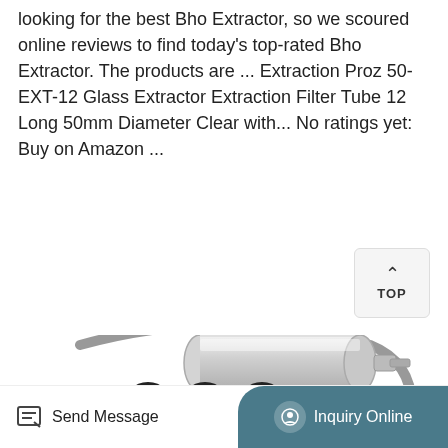looking for the best Bho Extractor, so we scoured online reviews to find today's top-rated Bho Extractor. The products are ... Extraction Proz 50-EXT-12 Glass Extractor Extraction Filter Tube 12 Long 50mm Diameter Clear with... No ratings yet: Buy on Amazon ...
Learn More
[Figure (photo): Stainless steel BHO extractor tube kit with rubber O-rings, pressure gauge, fittings, and braided hose]
Send Message   Inquiry Online